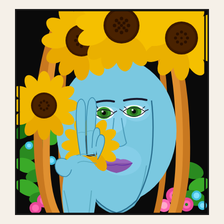[Figure (illustration): Psychedelic pop-art illustration of a blue-skinned woman with green eyes and auburn/golden wavy hair, making a peace sign with her hand. Large sunflowers crown her head. The background is dark/black filled with colorful floral and foliage motifs including pink poppies, blue flowers, and green leaves. The artwork is printed on a cream/off-white background with a thin dark border.]